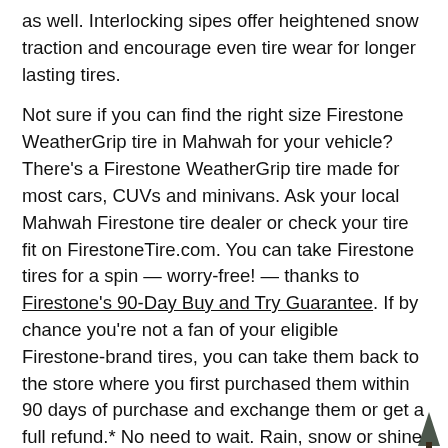as well. Interlocking sipes offer heightened snow traction and encourage even tire wear for longer lasting tires.
Not sure if you can find the right size Firestone WeatherGrip tire in Mahwah for your vehicle? There's a Firestone WeatherGrip tire made for most cars, CUVs and minivans. Ask your local Mahwah Firestone tire dealer or check your tire fit on FirestoneTire.com. You can take Firestone tires for a spin — worry-free! — thanks to Firestone's 90-Day Buy and Try Guarantee. If by chance you're not a fan of your eligible Firestone-brand tires, you can take them back to the store where you first purchased them within 90 days of purchase and exchange them or get a full refund.* No need to wait. Rain, snow or shine — the Mahwah road is yours when you drive on Firestone WeatherGrip tires.
*Certain limitations and restrictions apply. See warranty manual for details.